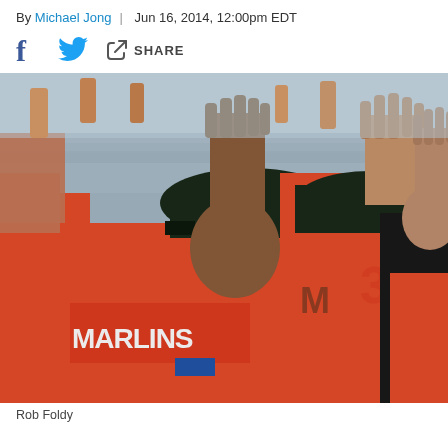By Michael Jong | Jun 16, 2014, 12:00pm EDT
f  [Twitter icon]  [Share icon] SHARE
[Figure (photo): Miami Marlins baseball players in orange jerseys celebrating with high-fives in the dugout. One player wearing a Marlins cap and jersey with hands raised high-fiving teammates. Player behind him shows jersey number 3x and Marlins M logo. Crowd visible in background.]
Rob Foldy